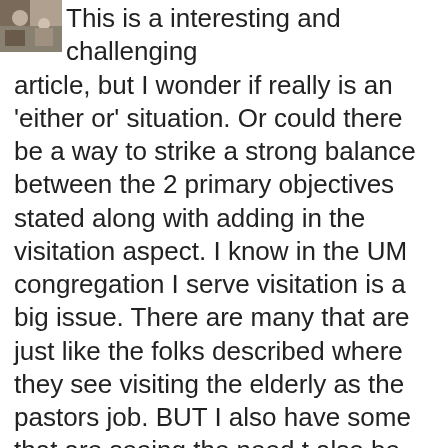This is a interesting and challenging article, but I wonder if really is an 'either or' situation. Or could there be a way to strike a strong balance between the 2 primary objectives stated along with adding in the visitation aspect. I know in the UM congregation I serve visitation is a big issue. There are many that are just like the folks described where they see visiting the elderly as the pastors job. BUT I also have some that are seeing the need t also be apart of this ministry. I also struggle with what truly constitutes a 'home bound' member. I have several older members who have no problem going to Walmart, dinner and other places, but coming to church – they just cannot sit there